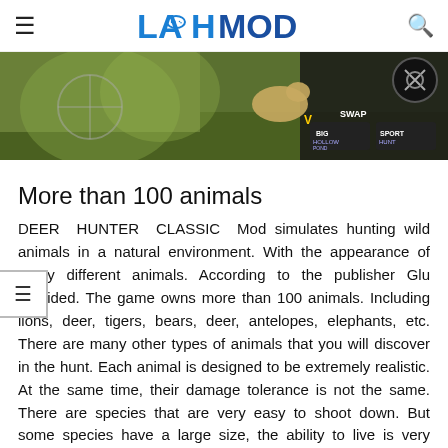LAHMOD (logo with gamepad icon)
[Figure (screenshot): Game screenshot from DEER HUNTER CLASSIC showing animals in a natural outdoor environment with game UI elements including ammo indicators and SWAP button]
More than 100 animals
DEER HUNTER CLASSIC Mod simulates hunting wild animals in a natural environment. With the appearance of many different animals. According to the publisher Glu provided. The game owns more than 100 animals. Including lions, deer, tigers, bears, deer, antelopes, elephants, etc. There are many other types of animals that you will discover in the hunt. Each animal is designed to be extremely realistic. At the same time, their damage tolerance is not the same. There are species that are very easy to shoot down. But some species have a large size, the ability to live is very intense. Besides, it causes the animals to lose a large amount of blood. It is even possible